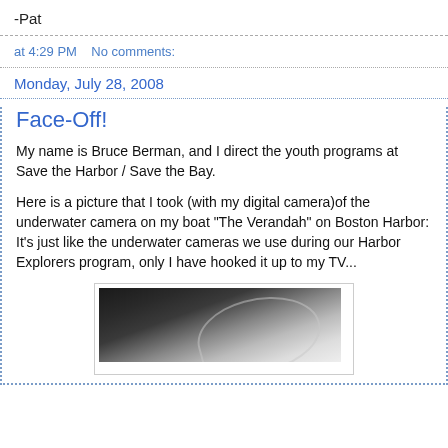-Pat
at 4:29 PM   No comments:
Monday, July 28, 2008
Face-Off!
My name is Bruce Berman, and I direct the youth programs at Save the Harbor / Save the Bay.
Here is a picture that I took (with my digital camera)of the underwater camera on my boat "The Verandah" on Boston Harbor: It's just like the underwater cameras we use during our Harbor Explorers program, only I have hooked it up to my TV...
[Figure (photo): Underwater camera photo showing dark and light contrasting areas, appears to be an underwater or close-up photograph]